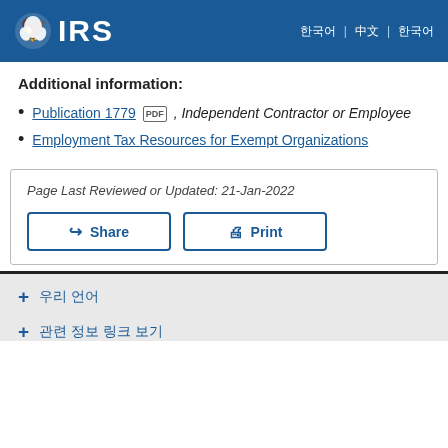IRS | 한국어 | 中文 | 한국어
Additional information:
Publication 1779 [PDF], Independent Contractor or Employee
Employment Tax Resources for Exempt Organizations
Page Last Reviewed or Updated: 21-Jan-2022
Share  Print
우리 언어
관련 정보 링크 보기